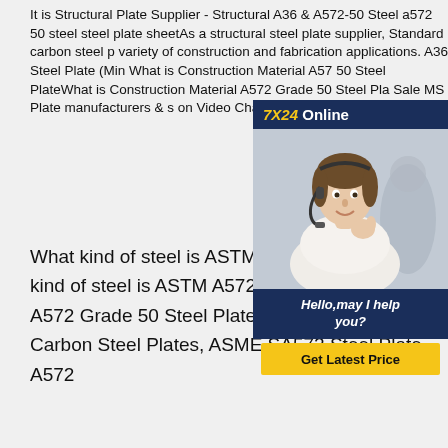It is Structural Plate Supplier - Structural A36 & A572-50 Steel a572 50 steel steel plate sheetAs a structural steel plate supplier, Standard carbon steel p variety of construction and fabrication applications. A36 Steel Plate (Mir What is Construction Material A57 50 Steel PlateWhat is Construction Material A572 Grade 50 Steel Plate Sale MS Plate manufacturers & s on Video Channel of .
[Figure (illustration): Chat widget overlay showing '7X24 Online' header in dark blue with gold text, a photo of a woman wearing a headset, a dark blue speech bubble saying 'Hello, may I help you?', and a yellow 'Get Latest Price' button.]
What kind of steel is ASTM A572 grade 50?What kind of steel is ASTM A572 grade 50?ASTM A572 Grade 50 Steel Plates, ASTM A572 Gr 50 Carbon Steel Plates, ASME SA572 Steel Plate, A572